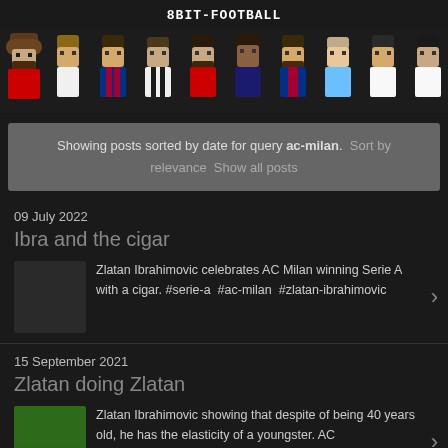8BIT-FOOTBALL
[Figure (illustration): 8-bit pixel art football player characters in a row, wearing various club kits (red, white, blue/red striped, black/white striped, red, dark blue, dark blue, light blue, white)]
Showing posts sorted by date for query ac-milan. Sort by relevance Show all posts
09 July 2022
Ibra and the cigar
Zlatan Ibrahimovic celebrates AC Milan winning Serie A with a cigar. #serie-a #ac-milan #zlatan-ibrahimovic
15 September 2021
Zlatan doing Zlatan
Zlatan Ibrahimovic showing that despite of being 40 years old, he has the elasticity of a youngster. AC